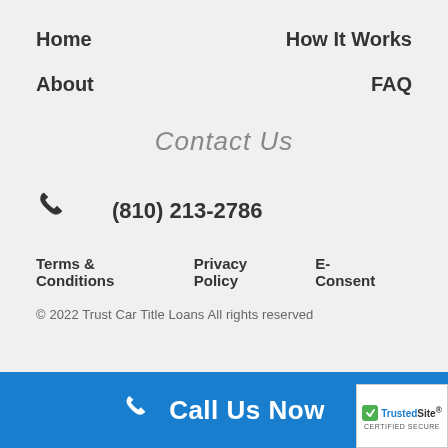Home
How It Works
About
FAQ
Contact Us
(810) 213-2786
Terms & Conditions
Privacy Policy
E-Consent
© 2022 Trust Car Title Loans All rights reserved
Call Us Now
[Figure (logo): TrustedSite Certified Secure badge]